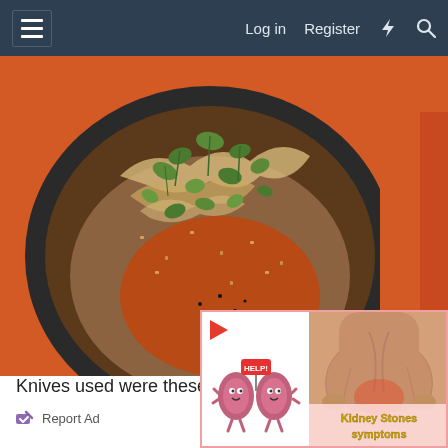≡  Log in  Register  ⚡  🔍
[Figure (photo): A dark bowl filled with a grain or rice dish topped with fresh cilantro/herb leaves and shredded garnish, placed on an orange background]
Knives used were these
[Figure (illustration): Advertisement overlay showing kidney-shaped cartoon characters with 'HELP!' text and a person holding their lower back, with text 'Kidney Stones symptoms' in yellow on pink background. A play button icon is visible at top left. An X close button is at top right.]
Report Ad